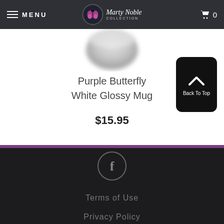MENU | Marty Noble Collection | Cart 0
[Figure (photo): Partial view of a white glossy mug with purple butterfly design, cropped at top]
Purple Butterfly White Glossy Mug
$15.95
[Figure (other): Back To Top button with upward chevron arrow, black rounded rectangle]
Terms of Use | Privacy Policy
[Figure (other): Facebook icon circle]
Terms of Use
Privacy Policy